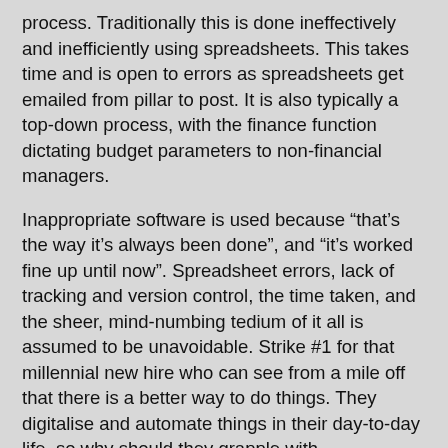process. Traditionally this is done ineffectively and inefficiently using spreadsheets. This takes time and is open to errors as spreadsheets get emailed from pillar to post. It is also typically a top-down process, with the finance function dictating budget parameters to non-financial managers.
Inappropriate software is used because “that’s the way it's always been done”, and “it’s worked fine up until now”. Spreadsheet errors, lack of tracking and version control, the time taken, and the sheer, mind-numbing tedium of it all is assumed to be unavoidable. Strike #1 for that millennial new hire who can see from a mile off that there is a better way to do things. They digitalise and automate things in their day-to-day life, so why should they grapple with spreadsheets or any other out-dated systems and processes in the workplace?
But more alarming is the top-down, hierarchical, command-and-control culture that goes hand-in-hand with this old way of working. This style of leadership might have suited the industrial revolution and its assembly line culture, but it is no longer relevant, or helpful today. Strike #2 for the millennial.